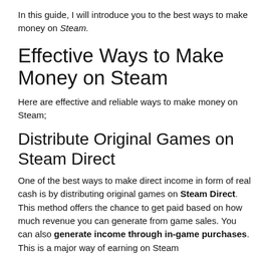In this guide, I will introduce you to the best ways to make money on Steam.
Effective Ways to Make Money on Steam
Here are effective and reliable ways to make money on Steam;
Distribute Original Games on Steam Direct
One of the best ways to make direct income in form of real cash is by distributing original games on Steam Direct. This method offers the chance to get paid based on how much revenue you can generate from game sales. You can also generate income through in-game purchases. This is a major way of earning on Steam